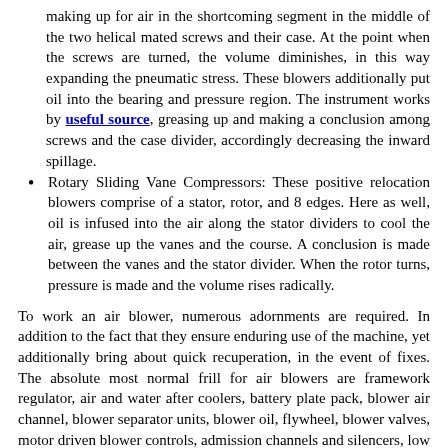making up for air in the shortcoming segment in the middle of the two helical mated screws and their case. At the point when the screws are turned, the volume diminishes, in this way expanding the pneumatic stress. These blowers additionally put oil into the bearing and pressure region. The instrument works by useful source, greasing up and making a conclusion among screws and the case divider, accordingly decreasing the inward spillage.
Rotary Sliding Vane Compressors: These positive relocation blowers comprise of a stator, rotor, and 8 edges. Here as well, oil is infused into the air along the stator dividers to cool the air, grease up the vanes and the course. A conclusion is made between the vanes and the stator divider. When the rotor turns, pressure is made and the volume rises radically.
To work an air blower, numerous adornments are required. In addition to the fact that they ensure enduring use of the machine, yet additionally bring about quick recuperation, in the event of fixes. The absolute most normal frill for air blowers are framework regulator, air and water after coolers, battery plate pack, blower air channel, blower separator units, blower oil, flywheel, blower valves, motor driven blower controls, admission channels and silencers, low oil watch, pneumatic tank manifolds, versatile air tank change units, positive relocation blower adornments, etc.